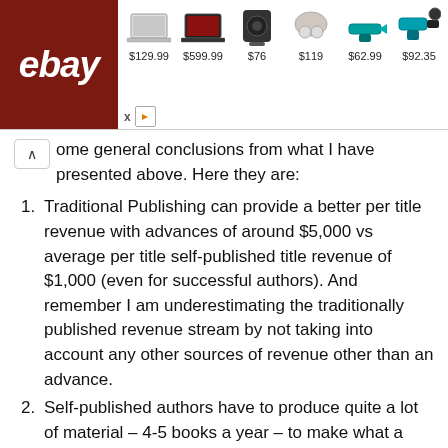[Figure (screenshot): eBay advertisement banner showing laptop, gaming laptop, speaker, earbuds, power tool, and drill kit with prices $129.99, $599.99, $76, $119, $62.99, $92.35]
ome general conclusions from what I have presented above. Here they are:
Traditional Publishing can provide a better per title revenue with advances of around $5,000 vs average per title self-published title revenue of $1,000 (even for successful authors). And remember I am underestimating the traditionally published revenue stream by not taking into account any other sources of revenue other than an advance.
Self-published authors have to produce quite a lot of material – 4-5 books a year – to make what a traditionally published author could get from their first novel advances.
Self-published authors have to invest in editorial services to make their book more marketable. These costs for